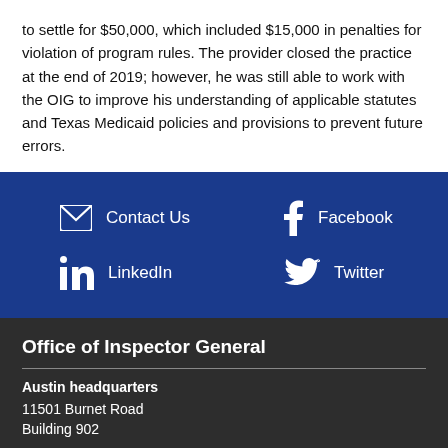to settle for $50,000, which included $15,000 in penalties for violation of program rules. The provider closed the practice at the end of 2019; however, he was still able to work with the OIG to improve his understanding of applicable statutes and Texas Medicaid policies and provisions to prevent future errors.
[Figure (infographic): Dark blue social media bar with icons and labels: Contact Us, Facebook, LinkedIn, Twitter]
Office of Inspector General
Austin headquarters
11501 Burnet Road
Building 902